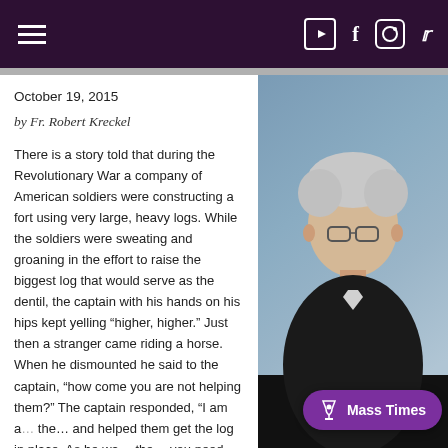Navigation header with hamburger menu and social media icons (YouTube, Facebook, Instagram, Twitter)
October 19, 2015
by Fr. Robert Kreckel
There is a story told that during the Revolutionary War a company of American soldiers were constructing a fort using very large, heavy logs. While the soldiers were sweating and groaning in the effort to raise the biggest log that would serve as the dentil, the captain with his hands on his hips kept yelling “higher, higher.” Just then a stranger came riding a horse. When he dismounted he said to the captain, “how come you are not helping them?” The captain responded, “I am a… the… and helped them get the log in place. As he wa… the… you need help, just call me. The name is Washington, George Washin…
[Figure (photo): Photograph of Fr. Robert Kreckel, an elderly man with white hair wearing a dark jacket, photographed against a blue-grey sky background.]